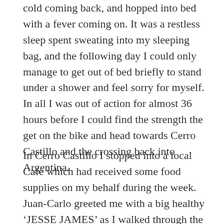cold coming back, and hopped into bed with a fever coming on. It was a restless sleep spent sweating into my sleeping bag, and the following day I could only manage to get out of bed briefly to stand under a shower and feel sorry for myself. In all I was out of action for almost 36 hours before I could find the strength the get on the bike and head towards Cerro Castillo and the crossing back into Argentina.
In Cerro Castillo I stopped into a local Cafe which had received some food supplies on my behalf during the week. Juan-Carlo greeted me with a big healthy ‘JESSE JAMES’ as I walked through the door. My bag of food was labelled with my name and he took liberty to rename me as he saw fit. He gave me a good tip for a place to sleep in the small border town, and I headed towards the local bus terminus to bed down. It ended up being the best bus stop I’ve slept in (not just on this trip), it was equipped with leather couches, a TV